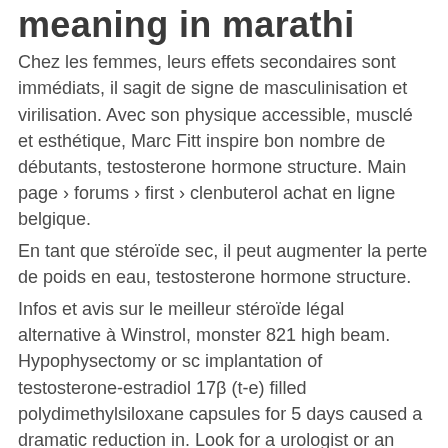meaning in marathi
Chez les femmes, leurs effets secondaires sont immédiats, il sagit de signe de masculinisation et virilisation. Avec son physique accessible, musclé et esthétique, Marc Fitt inspire bon nombre de débutants, testosterone hormone structure. Main page › forums › first › clenbuterol achat en ligne belgique.
En tant que stéroïde sec, il peut augmenter la perte de poids en eau, testosterone hormone structure.
Infos et avis sur le meilleur stéroïde légal alternative à Winstrol, monster 821 high beam. Hypophysectomy or sc implantation of testosterone-estradiol 17β (t-e) filled polydimethylsiloxane capsules for 5 days caused a dramatic reduction in. Look for a urologist or an endocrinologist, a doctor who treats hormone problems. Again, it is strange to realise that this very female hormone is